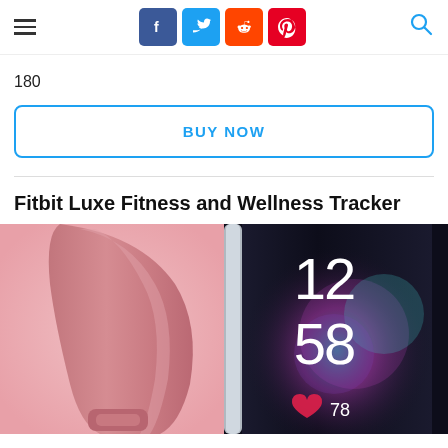Navigation bar with hamburger menu, social share icons (Facebook, Twitter, Reddit, Pinterest), and search icon
180
BUY NOW
Fitbit Luxe Fitness and Wellness Tracker
[Figure (photo): Product photo of Fitbit Luxe showing a pink wristband on the left and a closeup of the AMOLED display showing 12:58 and heart rate 78 on the right]